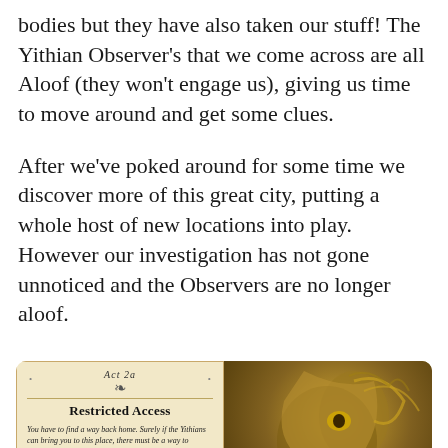bodies but they have also taken our stuff! The Yithian Observer's that we come across are all Aloof (they won't engage us), giving us time to move around and get some clues.
After we've poked around for some time we discover more of this great city, putting a whole host of new locations into play. However our investigation has not gone unnoticed and the Observers are no longer aloof.
[Figure (photo): A game card titled 'Restricted Access' (Act 2a) with flavor text about finding a way back home from the Yithians, and an objective about advancing when three conditions are true. Beside it is artwork depicting a grotesque insectoid alien creature in gold/green tones with a blue circle overlay.]